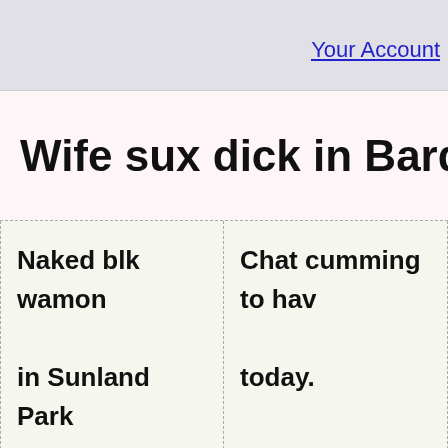Your Account
Wife sux dick in Bards
Naked blk wamon in Sunland Park New Mexico.
Chat cumming to have today.